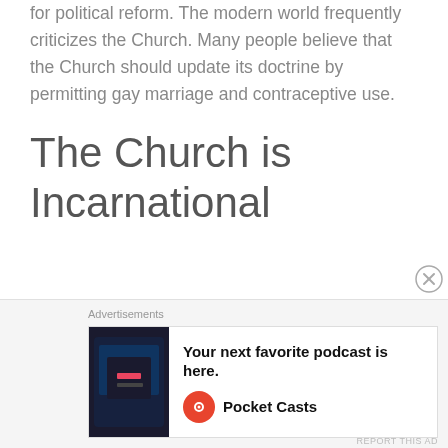for political reform. The modern world frequently criticizes the Church. Many people believe that the Church should update its doctrine by permitting gay marriage and contraceptive use.
The Church is Incarnational
Though being a human institution, the Church has a Divine aspect, and is guided by the Holy Spirit. Therefore, all of its doctrines are immutable and Her truths are eternal. According to the Catechism
[Figure (other): Advertisement banner for Pocket Casts podcast app with text 'Your next favorite podcast is here.' and Pocket Casts logo]
Advertisements